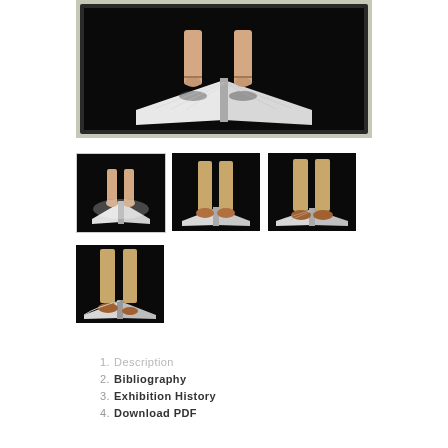[Figure (photo): Large main image showing two bare feet standing on an open book, viewed from above, against dark background, displayed on a monitor/screen mounted on wall]
[Figure (photo): Thumbnail 1: bare feet on open book, black background, similar angle to main image]
[Figure (photo): Thumbnail 2: khaki-trouser legs with orange/brown shoes standing on open book, black background]
[Figure (photo): Thumbnail 3: khaki-trouser legs with shoes standing on open book, black background, side angle]
[Figure (photo): Thumbnail 4: khaki-trouser legs with one shoe on open book, black background]
1. Description
2. Bibliography
3. Exhibition History
4. Download PDF